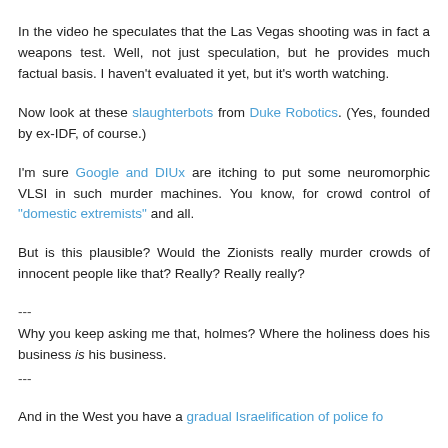In the video he speculates that the Las Vegas shooting was in fact a weapons test. Well, not just speculation, but he provides much factual basis. I haven't evaluated it yet, but it's worth watching.
Now look at these slaughterbots from Duke Robotics. (Yes, founded by ex-IDF, of course.)
I'm sure Google and DIUx are itching to put some neuromorphic VLSI in such murder machines. You know, for crowd control of "domestic extremists" and all.
But is this plausible? Would the Zionists really murder crowds of innocent people like that? Really? Really really?
---
Why you keep asking me that, holmes? Where the holiness does his business is his business.
---
And in the West you have a gradual Israelification of police fo...